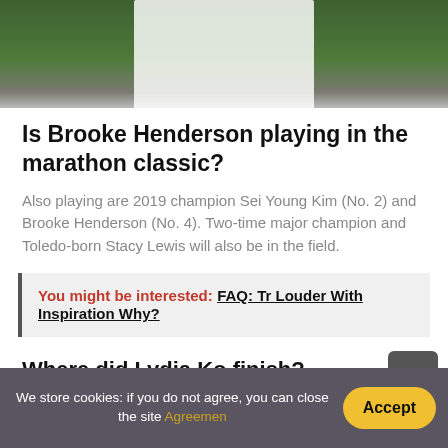[Figure (photo): A person in white clothing holding a trophy, with a green grass background, photo cropped to show torso and partial head area]
Is Brooke Henderson playing in the marathon classic?
Also playing are 2019 champion Sei Young Kim (No. 2) and Brooke Henderson (No. 4). Two-time major champion and Toledo-born Stacy Lewis will also be in the field.
You might be interested: FAQ: Tr Louder With Inspiration Why?
Where did Lydia Ko finish?
We store cookies: if you do not agree, you can close the site Agreemen